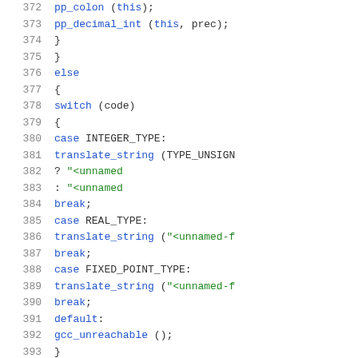Source code listing lines 372-392, showing C code with switch statement handling INTEGER_TYPE, REAL_TYPE, FIXED_POINT_TYPE cases